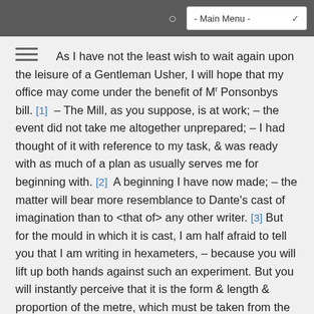- Main Menu -
As I have not the least wish to wait again upon the leisure of a Gentleman Usher, I will hope that my office may come under the benefit of Mr Ponsonbys bill. [1] – The Mill, as you suppose, is at work; – the event did not take me altogether unprepared; – I had thought of it with reference to my task, & was ready with as much of a plan as usually serves me for beginning with. [2] A beginning I have now made; – the matter will bear more resemblance to Dante's cast of imagination than to <that of> any other writer. [3] But for the mould in which it is cast, I am half afraid to tell you that I am writing in hexameters, – because you will lift up both hands against such an experiment. But you will instantly perceive that it is the form & length & proportion of the metre, which must be taken from the ancients, & not the laws of it.